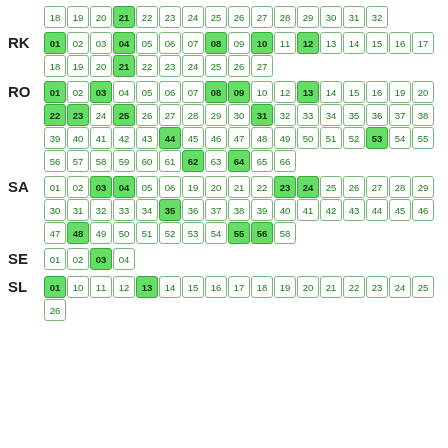RA: 18 19 20 21(green) 22 23 24 25 26 27 28 29 30 31 32
RK: 01(green) 02 03 04(green) 05 06 07 08(green) 09 10(green) 11 12(green) 13 14 15 16 17 / 18 19 20 21(green) 22 23 24 25 26 27
RO: 01(green) 02 03(green) 04 05 06 07 08(green) 09(green) 10 12 13(green) 14 15 16 19 20 / 22(green) 23(green) 24 25(green) 26 27 28 29 30 31(green) 32 33 34 35 36 37 38 / 39 40 41 42 43 44(green) 45 46 47 48 49 50 51 52 53(green) 54 55 / 56 57 58 59 60 61 62(green) 63 64(green) 65 66
SA: 01 02 03(green) 04(green) 05 06 19 20 21 22 23(green) 24(green) 25 26 27 28 29 / 30 31 32 33 34 35(green) 36 37 38 39 40 41 42 43 44 45 46 / 47 48(green) 49 50 51 52 53 54 55(green) 56(green) 58
SE: 01 02 03(green) 04
SL: 01(green) 10 11 12 13(green) 14 15 16 17 18 19 20 21 22 23 24 25 / 26